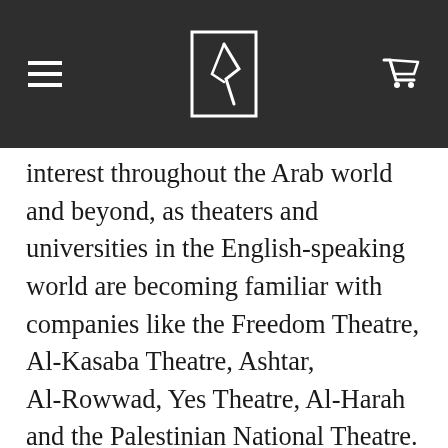[Navigation header with logo, hamburger menu, and cart icon]
interest throughout the Arab world and beyond, as theaters and universities in the English-speaking world are becoming familiar with companies like the Freedom Theatre, Al-Kasaba Theatre, Ashtar, Al-Rowwad, Yes Theatre, Al-Harah and the Palestinian National Theatre. This volume for the first time presents contemporary plays from a number of Palestinian theatres in English. The collection offers a rare look into the dynamic life of contemporary Palestinian theatre. The works gathered here arise directly from the physical and psychological realities of the occupation, combining activism and critical self-inquiry. The